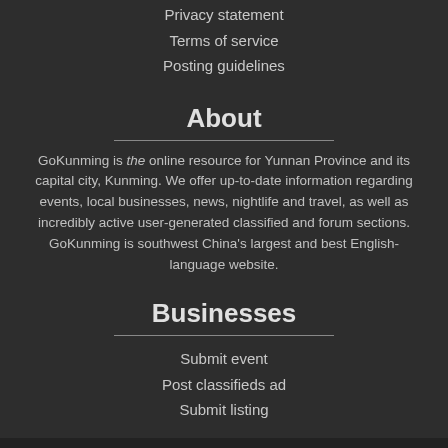Privacy statement
Terms of service
Posting guidelines
About
GoKunming is the online resource for Yunnan Province and its capital city, Kunming. We offer up-to-date information regarding events, local businesses, news, nightlife and travel, as well as incredibly active user-generated classified and forum sections. GoKunming is southwest China's largest and best English-language website.
Businesses
Submit event
Post classifieds ad
Submit listing